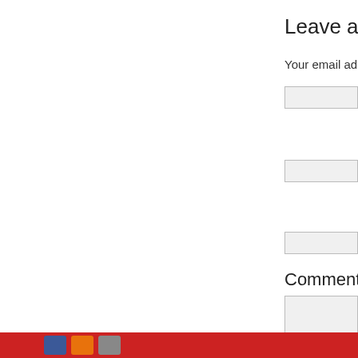Leave a Rep
Your email add
[Figure (screenshot): Text input field 1]
[Figure (screenshot): Text input field 2]
[Figure (screenshot): Text input field 3]
Comment
[Figure (screenshot): Comment textarea field]
[Figure (screenshot): Submit Comment button]
Social media icons footer bar